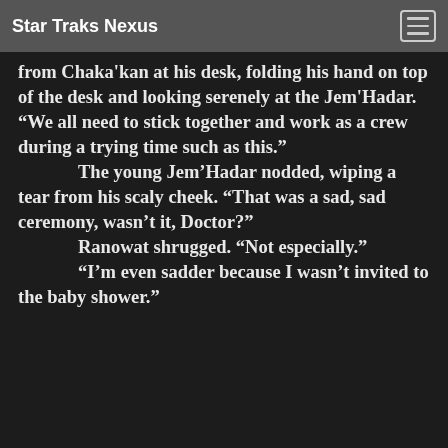Star Traks Nexus
from Chaka'kan at his desk, folding his hand on top of the desk and looking serenely at the Jem'Hadar. “We all need to stick together and work as a crew during a trying time such as this.”
	The young Jem’Hadar nodded, wiping a tear from his scaly cheek. “That was a sad, sad ceremony, wasn’t it, Doctor?”
	Ranowat shrugged. “Not especially.”
	“I’m even sadder because I wasn’t invited to the baby shower.”